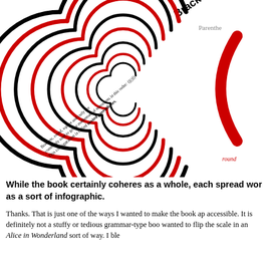[Figure (infographic): Infographic spread showing concentric arc patterns in black and red forming a visual about Brackets and Parentheses. The left side shows a 'Brackets' label with radiating arcs in alternating black and red. Rotated text reads 'Brackets, round, square, and curly are commonly used to group mathematical statements; This configuration is called nested parentheses.' The right side shows 'Parenthe...' with a large red parenthesis arc and small text about types of brackets, etymology, and usage. A red label reads 'round'.]
While the book certainly coheres as a whole, each spread works as a sort of infographic.
Thanks. That is just one of the ways I wanted to make the book app accessible. It is definitely not a stuffy or tedious grammar-type book wanted to flip the scale in an Alice in Wonderland sort of way. I ble